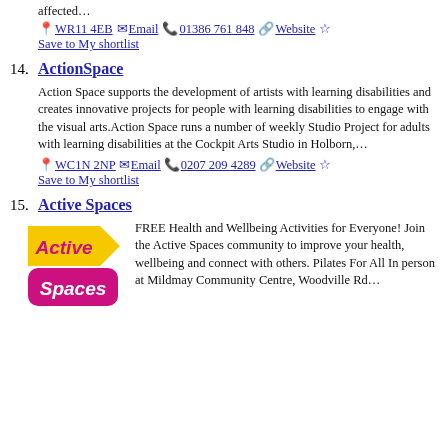affected…
WR11 4EB Email 01386 761 848 Website Save to My shortlist
14. ActionSpace
Action Space supports the development of artists with learning disabilities and creates innovative projects for people with learning disabilities to engage with the visual arts.Action Space runs a number of weekly Studio Project for adults with learning disabilities at the Cockpit Arts Studio in Holborn,…
WC1N 2NP Email 0207 209 4289 Website Save to My shortlist
15. Active Spaces
[Figure (logo): Active Spaces logo with yellow arrow shape containing 'Active' in pink text and a pink/magenta rounded rectangle containing 'Spaces' in white text]
FREE Health and Wellbeing Activities for Everyone! Join the Active Spaces community to improve your health, wellbeing and connect with others. Pilates For All In person at Mildmay Community Centre, Woodville Rd…